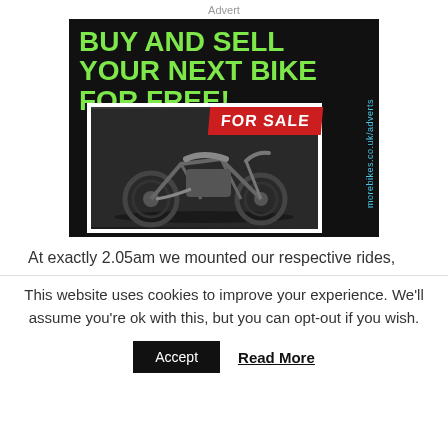Advert
[Figure (illustration): Advertisement banner with black background showing green bold text 'BUY AND SELL YOUR NEXT BIKE FOR FREE!' with a motorcycle photo and red 'FOR SALE' badge, and URL morebikes.co.uk/adverts]
At exactly 2.05am we mounted our respective rides,
This website uses cookies to improve your experience. We'll assume you're ok with this, but you can opt-out if you wish.
Accept   Read More